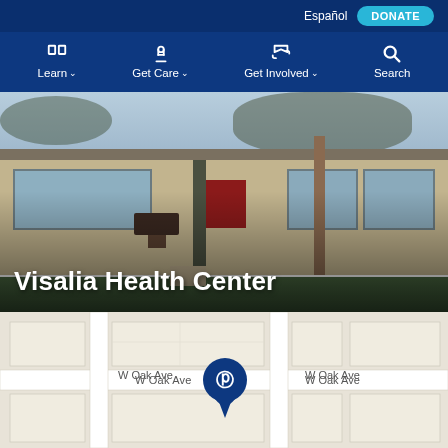Español  DONATE
[Figure (screenshot): Website navigation bar with icons for Learn, Get Care, Get Involved, and Search on dark blue background]
[Figure (photo): Exterior photo of Visalia Health Center building with trees and shrubs in front]
Visalia Health Center
[Figure (map): Street map showing location of Visalia Health Center with Planned Parenthood pin on W Oak Ave]